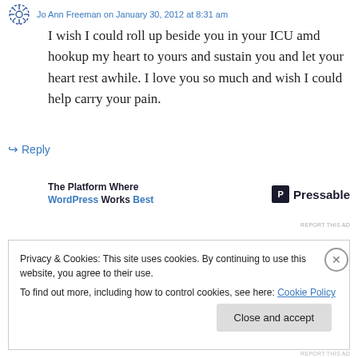Jo Ann Freeman on January 30, 2012 at 8:31 am
I wish I could roll up beside you in your ICU amd hookup my heart to yours and sustain you and let your heart rest awhile. I love you so much and wish I could help carry your pain.
↪ Reply
[Figure (screenshot): Advertisement banner: 'The Platform Where WordPress Works Best' with Pressable logo]
REPORT THIS AD
Privacy & Cookies: This site uses cookies. By continuing to use this website, you agree to their use.
To find out more, including how to control cookies, see here: Cookie Policy
Close and accept